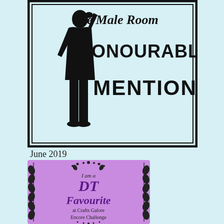[Figure (illustration): The Male Room Honourable Mention badge — light blue background with black border, black silhouette of a man in a suit on the left, italic 'The Male Room' text at top right, large bold 'HONOURABLE MENTION' text below]
June 2019
[Figure (illustration): DT Favourite at Crafts Galore Encore Challenge badge — purple/lavender background with decorative floral/leaf border, text reads 'I am a DT Favourite at Crafts Galore Encore Challenge']